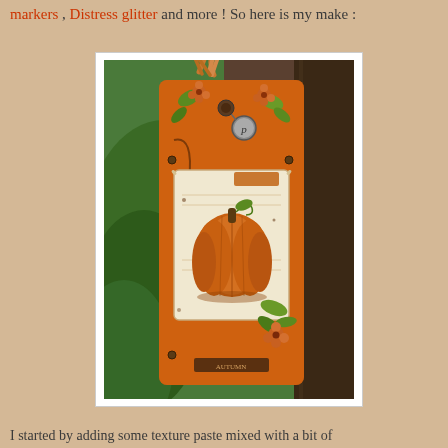markers , Distress glitter and more ! So here is my make :
[Figure (photo): A handcrafted decorative tag/book with an orange autumn theme. Features a pumpkin stamp image in the center, orange fabric ribbon at the top, green leaf die-cuts, orange flower embellishments, a small metal charm with letter P, and brown/rust distressed coloring throughout. Photographed outdoors against green foliage and a dark wooden post.]
I started by adding some texture paste mixed with a bit of